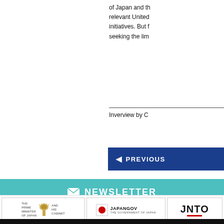of Japan and th relevant United initiatives. But f seeking the lim
Inverview by C
[Figure (other): PREVIOUS button in dark blue]
[Figure (infographic): NEWSLETTER banner in teal with envelope icon and subscription text]
[Figure (logo): The Prime Minister of Japan and His Cabinet logo]
[Figure (logo): JapanGov - The Government of Japan logo]
[Figure (logo): JNTO logo]
No article or any part there of may be reproduced without the express pe